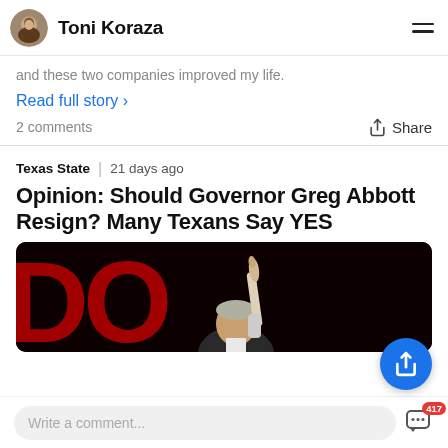Toni Koraza
and these two companies improved my life.
Read full story >
2 comments
Share
Texas State  |  21 days ago
Opinion: Should Governor Greg Abbott Resign? Many Texans Say YES
[Figure (photo): A person pointing upward with one finger against a dark background with large red letters]
Write a comment...
417